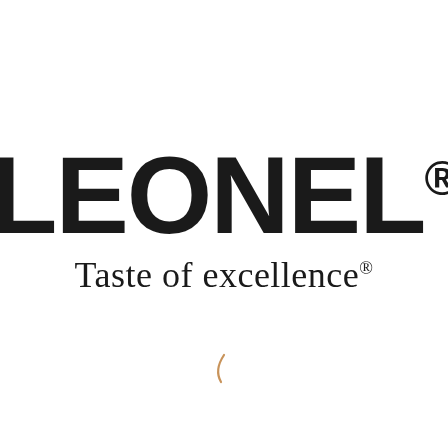[Figure (logo): LEONEL brand logo with trademark symbol and tagline 'Taste of excellence' with registered trademark symbol, plus a small decorative curl element in tan/brown color at the bottom]